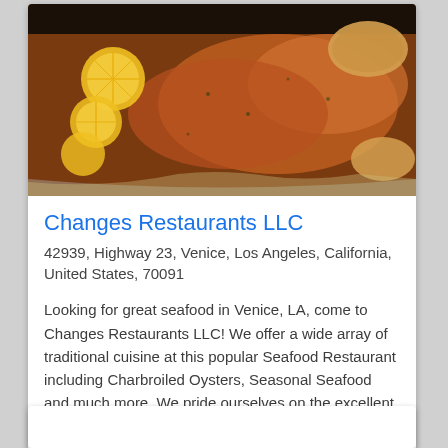[Figure (photo): Food photo showing a pan with roasted/charbroiled chicken or fish with lemon slices and bread on a dark pan, photographed from above]
Changes Restaurants LLC
42939, Highway 23, Venice, Los Angeles, California, United States, 70091
Looking for great seafood in Venice, LA, come to Changes Restaurants LLC! We offer a wide array of traditional cuisine at this popular Seafood Restaurant including Charbroiled Oysters, Seasonal Seafood and much more. We pride ourselves on the excellent service we provide to our customers and our...